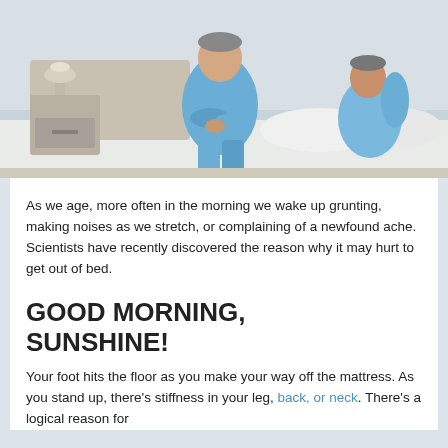[Figure (photo): Two elderly people in blue pajamas sitting on the edge of a bed in a bedroom, appearing to be waking up with discomfort. A nightstand is visible in the background.]
As we age, more often in the morning we wake up grunting, making noises as we stretch, or complaining of a newfound ache. Scientists have recently discovered the reason why it may hurt to get out of bed.
GOOD MORNING, SUNSHINE!
Your foot hits the floor as you make your way off the mattress. As you stand up, there's stiffness in your leg, back, or neck. There's a logical reason for this and it's not just "getting out of bed."